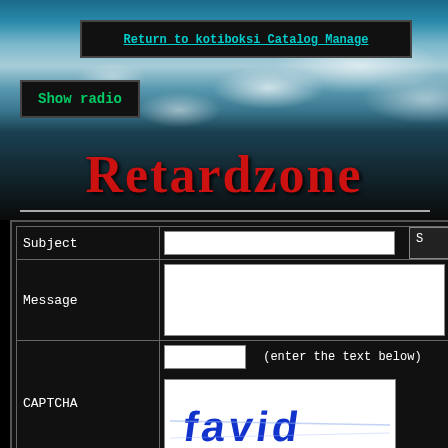Return to kotiboksi Catalog Manage
Show radio
Retardzone
| Label | Input |
| --- | --- |
| Subject | (text input) |
| Message | (textarea) |
| CAPTCHA | (text input) (enter the text below) [captcha image] |
| File | Choose File  No file chosen  [ ] Spoi |
| Embed | (text input)  (paste a You |